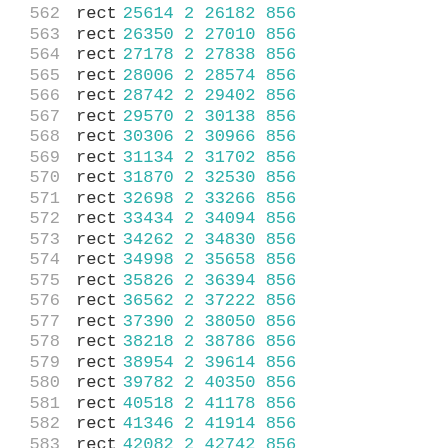562  rect 25614 2 26182 856
563  rect 26350 2 27010 856
564  rect 27178 2 27838 856
565  rect 28006 2 28574 856
566  rect 28742 2 29402 856
567  rect 29570 2 30138 856
568  rect 30306 2 30966 856
569  rect 31134 2 31702 856
570  rect 31870 2 32530 856
571  rect 32698 2 33266 856
572  rect 33434 2 34094 856
573  rect 34262 2 34830 856
574  rect 34998 2 35658 856
575  rect 35826 2 36394 856
576  rect 36562 2 37222 856
577  rect 37390 2 38050 856
578  rect 38218 2 38786 856
579  rect 38954 2 39614 856
580  rect 39782 2 40350 856
581  rect 40518 2 41178 856
582  rect 41346 2 41914 856
583  rect 42082 2 42742 856